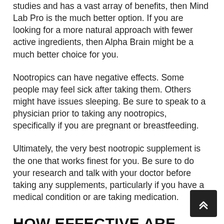studies and has a vast array of benefits, then Mind Lab Pro is the much better option. If you are looking for a more natural approach with fewer active ingredients, then Alpha Brain might be a much better choice for you.
Nootropics can have negative effects. Some people may feel sick after taking them. Others might have issues sleeping. Be sure to speak to a physician prior to taking any nootropics, specifically if you are pregnant or breastfeeding.
Ultimately, the very best nootropic supplement is the one that works finest for you. Be sure to do your research and talk with your doctor before taking any supplements, particularly if you have a medical condition or are taking medication.
HOW EFFECTIVE ARE